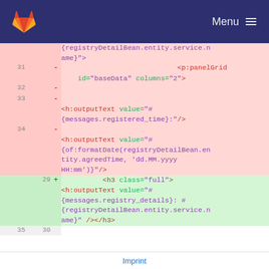GitLab — Menu
Code diff view showing removed and added lines in XML/JSF template. Lines 31-35 old, 29-30 new.
Imprint